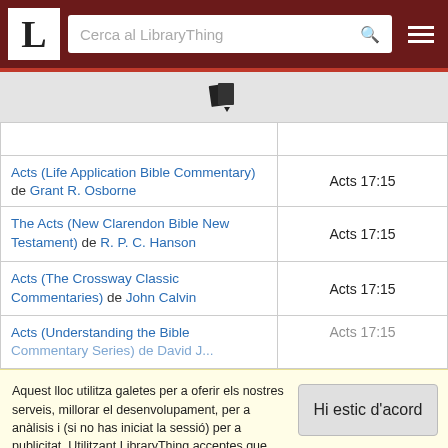Cerca al LibraryThing
| Book | Reference |
| --- | --- |
| Acts (Life Application Bible Commentary) de Grant R. Osborne | Acts 17:15 |
| The Acts (New Clarendon Bible New Testament) de R. P. C. Hanson | Acts 17:15 |
| Acts (The Crossway Classic Commentaries) de John Calvin | Acts 17:15 |
| Acts (Understanding the Bible Commentary Series) de David J... | Acts 17:15 |
Aquest lloc utilitza galetes per a oferir els nostres serveis, millorar el desenvolupament, per a anàlisis i (si no has iniciat la sessió) per a publicitat. Utilitzant LibraryThing acceptes que has llegit i entès els nostres Termes de servei i politica de privacitat. L'ús que facis del lloc i dels seus serveis està subjecte a aquestes politiques i termes.